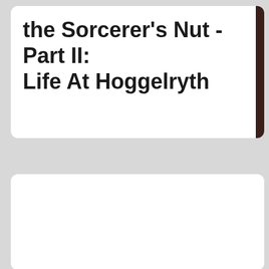the Sorcerer's Nut - Part II: Life At Hoggelryth